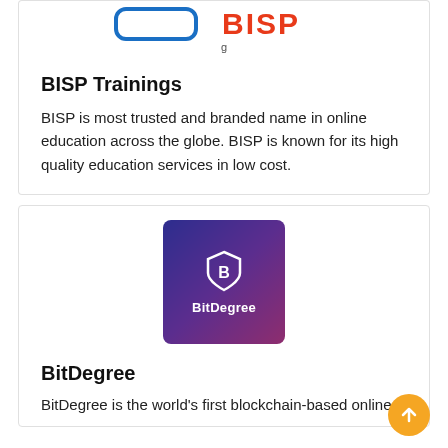[Figure (logo): BISP Trainings logo (partially visible at top)]
BISP Trainings
BISP is most trusted and branded name in online education across the globe. BISP is known for its high quality education services in low cost.
[Figure (logo): BitDegree logo — dark purple/violet gradient square with shield icon and 'BitDegree' text]
BitDegree
BitDegree is the world's first blockchain-based online